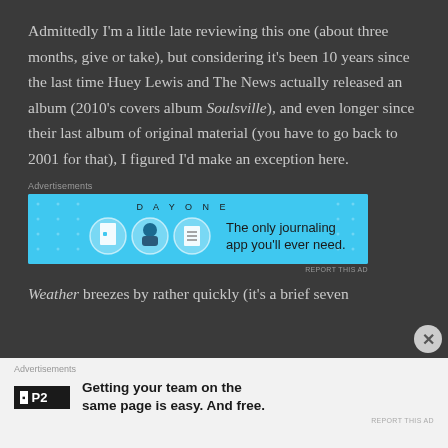Admittedly I'm a little late reviewing this one (about three months, give or take), but considering it's been 10 years since the last time Huey Lewis and The News actually released an album (2010's covers album Soulsville), and even longer since their last album of original material (you have to go back to 2001 for that), I figured I'd make an exception here.
[Figure (other): Advertisements banner: Day One journaling app ad - blue background with icons and text 'The only journaling app you'll ever need.']
Weather breezes by rather quickly (it's a brief seven
[Figure (other): Bottom advertisement bar for P2: 'Getting your team on the same page is easy. And free.']